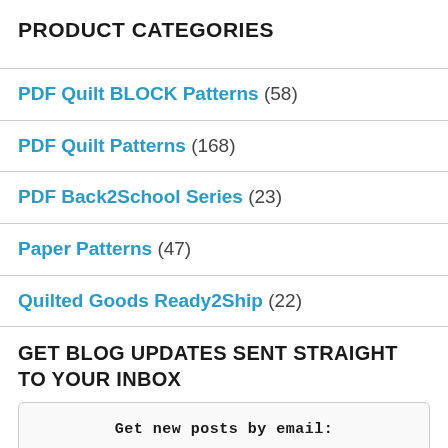PRODUCT CATEGORIES
PDF Quilt BLOCK Patterns (58)
PDF Quilt Patterns (168)
PDF Back2School Series (23)
Paper Patterns (47)
Quilted Goods Ready2Ship (22)
GET BLOG UPDATES SENT STRAIGHT TO YOUR INBOX
Get new posts by email: